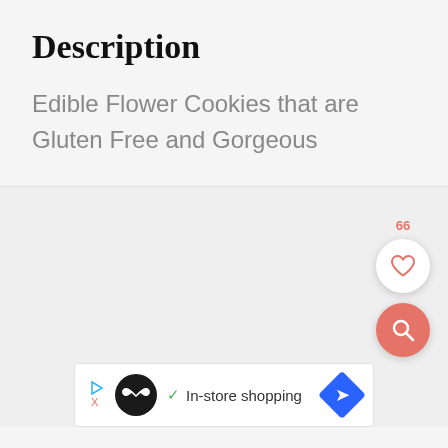Description
Edible Flower Cookies that are Gluten Free and Gorgeous
[Figure (screenshot): Gray section with floating heart button (66 likes) and red search button]
[Figure (infographic): Ad banner: black circle logo with infinity symbol, checkmark, 'In-store shopping' text, blue diamond arrow button]